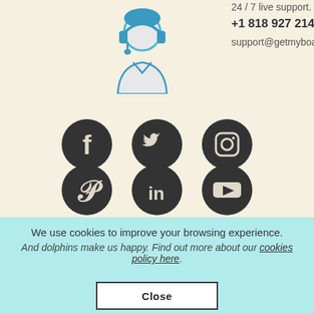24/7 live support.
+1 818 927 2148
support@getmyboat.com
[Figure (illustration): Blue customer support agent icon with headset]
[Figure (illustration): Six social media icons: Facebook, Twitter, Instagram, Pinterest, LinkedIn, YouTube — dark circular icons on cream background]
We use cookies to improve your browsing experience.
And dolphins make us happy. Find out more about our cookies policy here.
Close